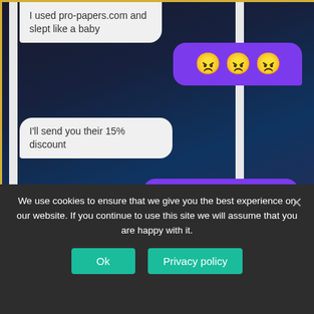[Figure (screenshot): A smartphone messaging app conversation on a dark galaxy background. Left bubble: 'I used pro-papers.com and slept like a baby'. Right purple bubble: three angry red emoji faces. Left bubble: 'I'll send you their 15% discount'. Right purple bubble: 'You're forgiven'. Purple input bar at bottom of phone.]
We use cookies to ensure that we give you the best experience on our website. If you continue to use this site we will assume that you are happy with it.
Ok
Privacy policy